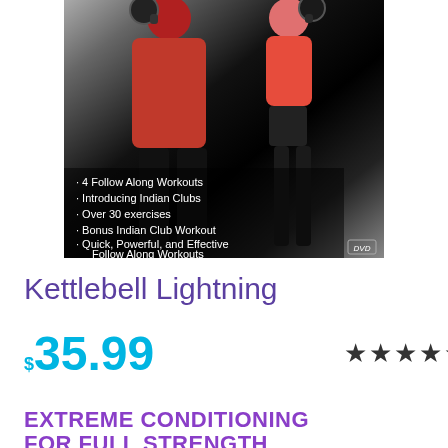[Figure (photo): DVD cover showing a man and woman in red workout clothes holding kettlebells, with bullet points listing workout features, and a DVD logo badge]
Kettlebell Lightning
$35.99 ★★★★★
EXTREME CONDITIONING FOR FULL STRENGTH